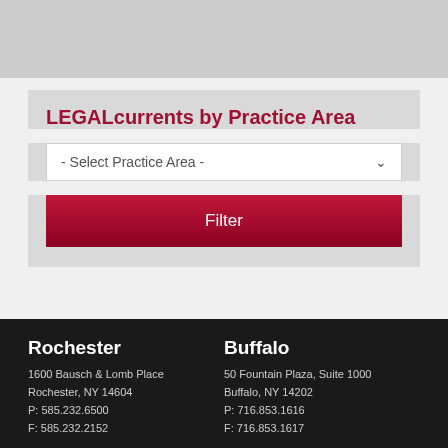[Figure (photo): Gray image area at top of page (partially visible)]
LEGALcurrents by Practice Area
[Figure (screenshot): Dropdown selector labeled '- Select Practice Area -']
Filter
Rochester
1600 Bausch & Lomb Place
Rochester, NY 14604
P: 585.232.6500
F: 585.232.2152
Buffalo
50 Fountain Plaza, Suite 1000
Buffalo, NY 14202
P: 716.853.1616
F: 716.853.1617
Albany
Corning